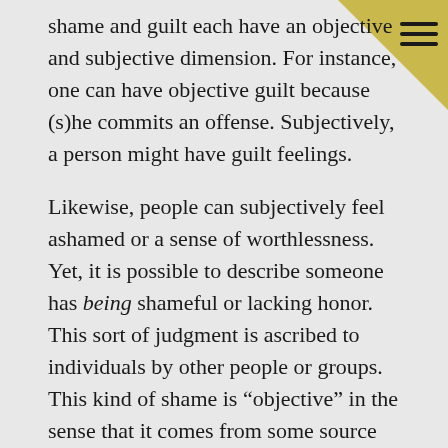shame and guilt each have an objective and subjective dimension. For instance, one can have objective guilt because (s)he commits an offense. Subjectively, a person might have guilt feelings.
Likewise, people can subjectively feel ashamed or a sense of worthlessness. Yet, it is possible to describe someone has being shameful or lacking honor. This sort of judgment is ascribed to individuals by other people or groups. This kind of shame is “objective” in the sense that it comes from some source outside the judged individual.
Accordingly, when ancient Romans crucified a person, they effectively shamed those whom they regarded as “criminals” or lacking social worth. Objective shame is inherently public by nature. It